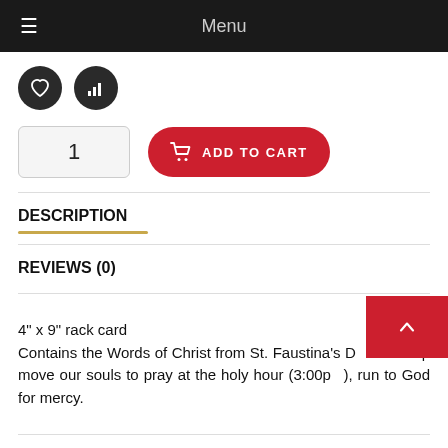Menu
[Figure (screenshot): Two circular dark icon buttons: a heart icon and a bar chart icon]
1  ADD TO CART
DESCRIPTION
REVIEWS (0)
4" x 9" rack card
Contains the Words of Christ from St. Faustina's D... help move our souls to pray at the holy hour (3:00p...), run to God for mercy.
It might come as a great shock to many who are involved in the 3:00...